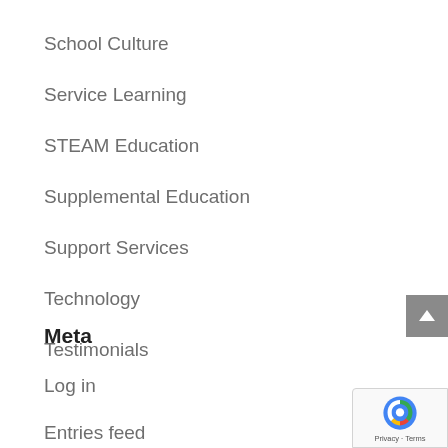School Culture
Service Learning
STEAM Education
Supplemental Education
Support Services
Technology
Testimonials
Meta
Log in
Entries feed
Comments feed
WordPress.org